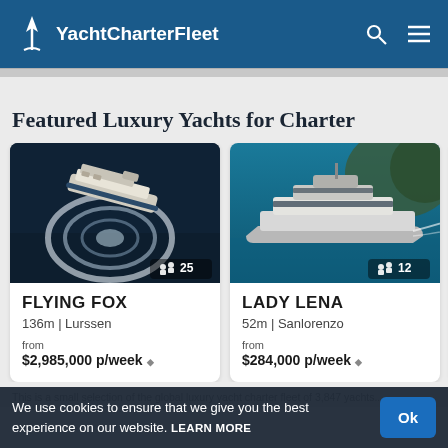YachtCharterFleet
Featured Luxury Yachts for Charter
[Figure (photo): Aerial view of superyacht FLYING FOX making a circular wake on dark blue ocean water]
FLYING FOX
136m | Lurssen
from
$2,985,000 p/week
[Figure (photo): Aerial view of superyacht LADY LENA on turquoise blue water]
LADY LENA
52m | Sanlorenzo
from
$284,000 p/week
DA
50m
from
$22
We use cookies to ensure that we give you the best experience on our website. LEARN MORE